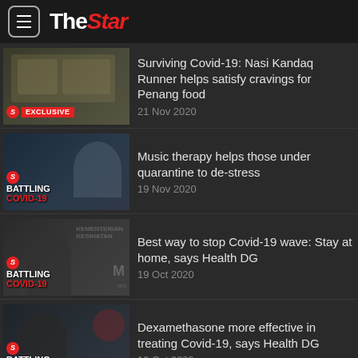The Star
Surviving Covid-19: Nasi Kandaq Runner helps satisfy cravings for Penang food — 21 Nov 2020
Music therapy helps those under quarantine to de-stress — 19 Nov 2020
Best way to stop Covid-19 wave: Stay at home, says Health DG — 19 Oct 2020
Dexamethasone more effective in treating Covid-19, says Health DG — 19 Oct 2020
Stay home to flatten Covid-19 curve as M'sia faces third wave, urges Health DG